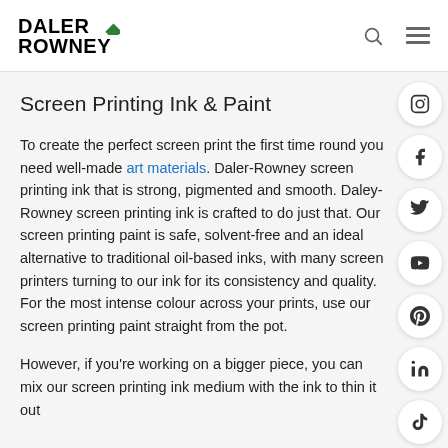DALER ROWNEY
Screen Printing Ink & Paint
To create the perfect screen print the first time round you need well-made art materials. Daler-Rowney screen printing ink that is strong, pigmented and smooth. Daley-Rowney screen printing ink is crafted to do just that. Our screen printing paint is safe, solvent-free and an ideal alternative to traditional oil-based inks, with many screen printers turning to our ink for its consistency and quality. For the most intense colour across your prints, use our screen printing paint straight from the pot.
However, if you're working on a bigger piece, you can mix our screen printing ink medium with the ink to thin it out